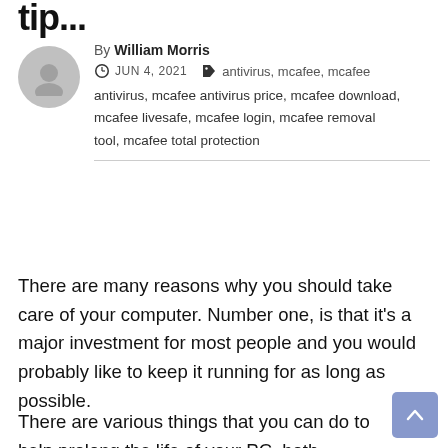tip...
By William Morris
JUN 4, 2021
antivirus, mcafee, mcafee antivirus, mcafee antivirus price, mcafee download, mcafee livesafe, mcafee login, mcafee removal tool, mcafee total protection
There are many reasons why you should take care of your computer. Number one, is that it's a major investment for most people and you would probably like to keep it running for as long as possible.
There are various things that you can do to help prolong the life of your PC, both hardware